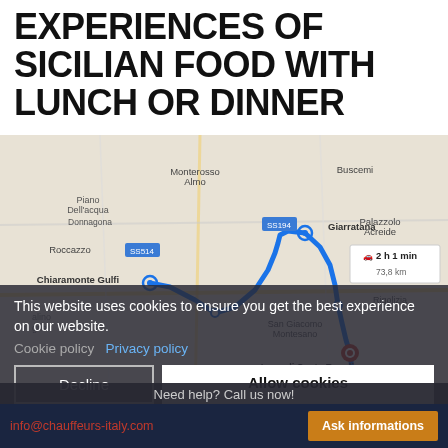EXPERIENCES OF SICILIAN FOOD WITH LUNCH OR DINNER
[Figure (map): Google Maps route map showing a driving route from Chiaramonte Gulfi to Giarratana area in Sicily, Italy. Route shown in blue, passing near Lago di Santa Rosalia and Ragusa Ibla. Route info: 2 h 1 min, 73.8 km. Place labels: Piano Dell'acqua, Donnagona, SS514, Monterosso Almo, Buscemi, Giarratana, SS194, Palazzolo Acreide, Roccazzo, Chiaramonte Gulfi, San Giacomo Montesano, Rigolizia, Lago di Santa Rosalia, Ragusa Ibla, Frigintini, Cento Pozzi.]
This website uses cookies to ensure you get the best experience on our website.
Cookie policy   Privacy policy
Decline   Allow cookies
Need help? Call us now!
info@chauffeurs-italy.com   Ask informations